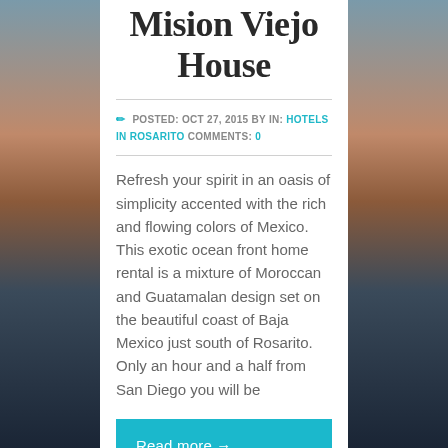Mision Viejo House
POSTED: OCT 27, 2015 BY IN: HOTELS IN ROSARITO COMMENTS: 0
Refresh your spirit in an oasis of simplicity accented with the rich and flowing colors of Mexico. This exotic ocean front home rental is a mixture of Moroccan and Guatamalan design set on the beautiful coast of Baja Mexico just south of Rosarito. Only an hour and a half from San Diego you will be
Read more →